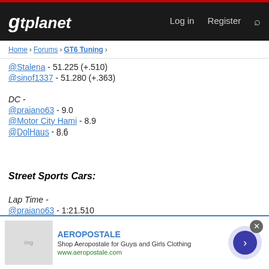gtplanet  Log in  Register
Home > Forums > GT6 Tuning >
@Stalena - 51.225 (+.510)
@sinof1337 - 51.280 (+.363)
DC -
@praiano63 - 9.0
@Motor City Hami - 8.9
@DolHaus - 8.6
Street Sports Cars:
Lap Time -
@praiano63 - 1:21.510
@DolHaus - 1:21.530 (+.020)
@Bowtie_muscle - 1:21.935 (+.424)
[Figure (other): Aeropostale advertisement banner with clothing images and link to www.aeropostale.com]